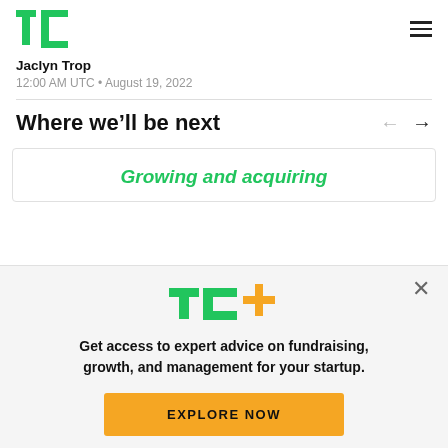TechCrunch logo and navigation
Jaclyn Trop
12:00 AM UTC • August 19, 2022
Where we'll be next
[Figure (other): Promotional card with text 'Growing and acquiring' in green italic bold font]
TC+
Get access to expert advice on fundraising, growth, and management for your startup.
EXPLORE NOW